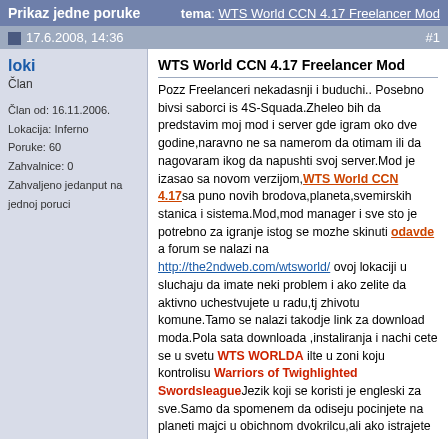Prikaz jedne poruke   tema: WTS World CCN 4.17 Freelancer Mod
17.6.2008, 14:36   #1
loki
Član

Član od: 16.11.2006.
Lokacija: Inferno
Poruke: 60
Zahvalnice: 0
Zahvaljeno jedanput na jednoj poruci
WTS World CCN 4.17 Freelancer Mod
Pozz Freelanceri nekadasnji i buduchi.. Posebno bivsi saborci is 4S-Squada.Zheleo bih da predstavim moj mod i server gde igram oko dve godine,naravno ne sa namerom da otimam ili da nagovaram ikog da napushti svoj server.Mod je izasao sa novom verzijom,WTS World CCN 4.17sa puno novih brodova,planeta,svemirskih stanica i sistema.Mod,mod manager i sve sto je potrebno za igranje istog se mozhe skinuti odavde a forum se nalazi na http://the2ndweb.com/wtsworld/ ovoj lokaciji u sluchaju da imate neki problem i ako zelite da aktivno uchestvujete u radu,tj zhivotu komune.Tamo se nalazi takodje link za download moda.Pola sata downloada ,instaliranja i nachi cete se u svetu WTS WORLDA ilte u zoni koju kontrolisu Warriors of Twighlighted SwordsleagueJezik koji se koristi je engleski za sve.Samo da spomenem da odiseju pocinjete na planeti majci u obichnom dvokrilcu,ali ako istrajete mozete imati i Pegasusa.Ja sam jedini iz Srbije i